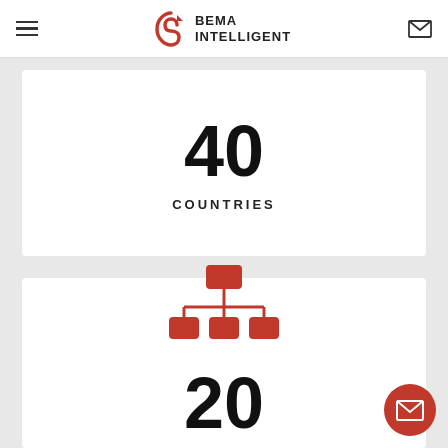BEMA INTELLIGENT
40
COUNTRIES
[Figure (infographic): Red organizational chart / hierarchy icon with top node connected to three bottom nodes]
20
YEARS EXPERIENCE